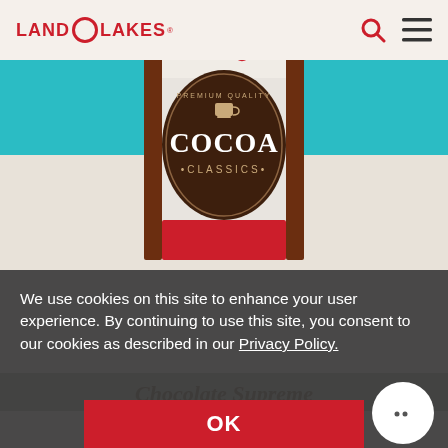LAND O LAKES
Others
[Figure (photo): Land O Lakes Cocoa Classics Chocolate Supreme product can/tin on a teal and cream background]
We use cookies on this site to enhance your user experience. By continuing to use this site, you consent to our cookies as described in our Privacy Policy.
OK
Chocolate Supreme